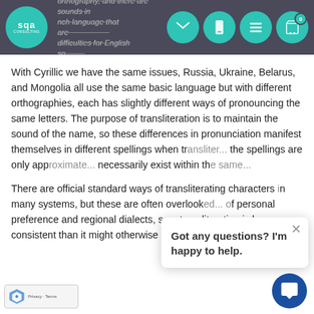SQA Consulting — [navigation header with logo and icons]
With Cyrillic we have the same issues, Russia, Ukraine, Belarus, and Mongolia all use the same basic language but with different orthographies, each has slightly different ways of pronouncing the same letters. The purpose of transliteration is to maintain the sound of the name, so these differences in pronunciation manifest themselves in different spellings when tr... the spellings are only app... necessarily exist within th...
There are official standard ways of transliterating characters in many systems, but these are often overlook... of personal preference and regional dialects, s... transliteration is less consistent than it might otherwise be.